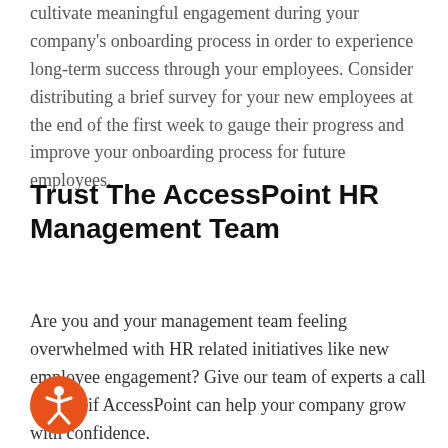cultivate meaningful engagement during your company's onboarding process in order to experience long-term success through your employees. Consider distributing a brief survey for your new employees at the end of the first week to gauge their progress and improve your onboarding process for future employees.
Trust The AccessPoint HR Management Team
Are you and your management team feeling overwhelmed with HR related initiatives like new employee engagement? Give our team of experts a call and see if AccessPoint can help your company grow with confidence.
[Figure (logo): Orange circular accessibility icon with a person figure in white]